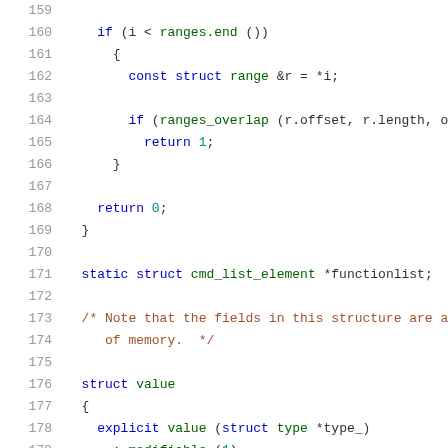Code listing lines 159-180 showing C/C++ source code with syntax highlighting
159: (blank)
160:     if (i < ranges.end ())
161:       {
162:         const struct range &r = *i;
163: (blank)
164:         if (ranges_overlap (r.offset, r.length, o
165:           return 1;
166:       }
167: (blank)
168:     return 0;
169:   }
170: (blank)
171:   static struct cmd_list_element *functionlist;
172: (blank)
173:   /* Note that the fields in this structure are a
174:      of memory.  */
175: (blank)
176:   struct value
177:   {
178:     explicit value (struct type *type_)
179:       : modifiable (1),
180:         lazy (1),